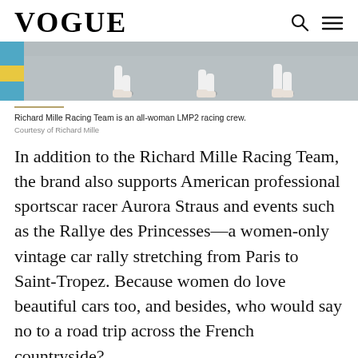VOGUE
[Figure (photo): Bottom portion of a racing photo showing legs and feet of racing crew members in white racing boots on track surface, with colorful blue and yellow track markings visible on the left side.]
Richard Mille Racing Team is an all-woman LMP2 racing crew.
Courtesy of Richard Mille
In addition to the Richard Mille Racing Team, the brand also supports American professional sportscar racer Aurora Straus and events such as the Rallye des Princesses—a women-only vintage car rally stretching from Paris to Saint-Tropez. Because women do love beautiful cars too, and besides, who would say no to a road trip across the French countryside?